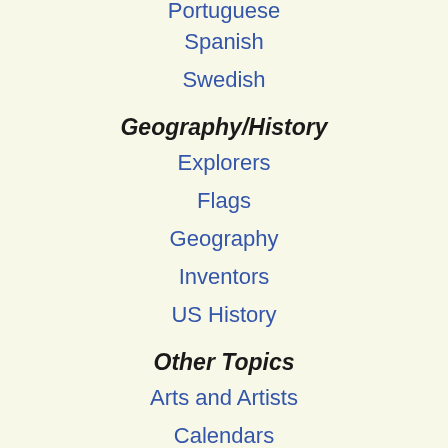Portuguese
Spanish
Swedish
Geography/History
Explorers
Flags
Geography
Inventors
US History
Other Topics
Arts and Artists
Calendars
College Finder
Crafts
Graphic Organizers